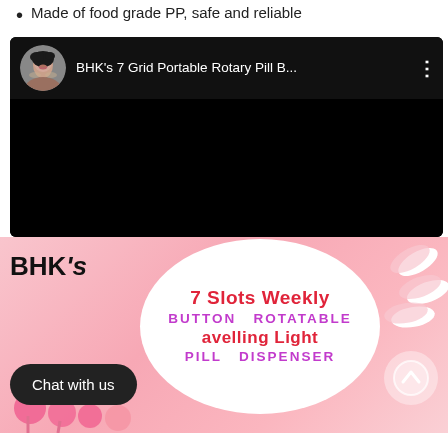Made of food grade PP, safe and reliable
[Figure (screenshot): Embedded video player showing BHK's 7 Grid Portable Rotary Pill B... with a woman avatar, dark background, video title bar, and black video area below.]
[Figure (infographic): BHK's product banner: pink background with white oval containing text '7 Slots Weekly', 'BUTTON ROTATABLE', 'avelling Light', 'PILL DISPENSER'. White capsules on the right, pink pills and lollipops at the bottom left. 'Chat with us' dark button bottom left, up-arrow button bottom right.]